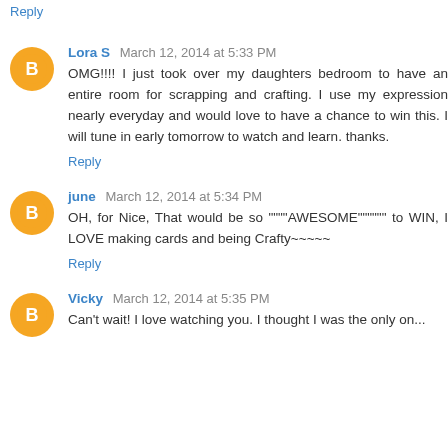Reply
Lora S  March 12, 2014 at 5:33 PM
OMG!!!! I just took over my daughters bedroom to have an entire room for scrapping and crafting. I use my expression nearly everyday and would love to have a chance to win this. I will tune in early tomorrow to watch and learn. thanks.
Reply
june  March 12, 2014 at 5:34 PM
OH, for Nice, That would be so """"AWESOME"""""" to WIN, I LOVE making cards and being Crafty~~~~~
Reply
Vicky  March 12, 2014 at 5:35 PM
Can't wait! I love watching you. I thought I was the only one...